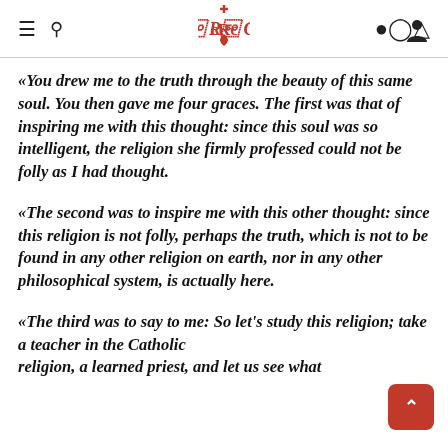CRC navigation header with hamburger menu, search icon, CRC logo, and user icon
«You drew me to the truth through the beauty of this same soul. You then gave me four graces. The first was that of inspiring me with this thought: since this soul was so intelligent, the religion she firmly professed could not be folly as I had thought.
«The second was to inspire me with this other thought: since this religion is not folly, perhaps the truth, which is not to be found in any other religion on earth, nor in any other philosophical system, is actually here.
«The third was to say to me: So let's study this religion; take a teacher in the Catholic religion, a learned priest, and let us see what